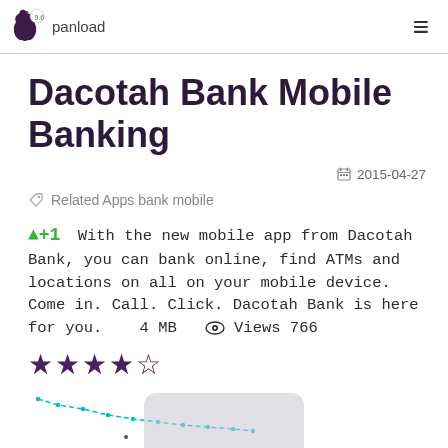panload
Dacotah Bank Mobile Banking
2015-04-27
Related Apps bank mobile
+1  With the new mobile app from Dacotah Bank, you can bank online, find ATMs and locations on all on your mobile device. Come in. Call. Click. Dacotah Bank is here for you.    4 MB   Views 766
[Figure (line-chart): Small line chart showing a downward trend, rendered in teal/cyan dashed style with dot markers.]